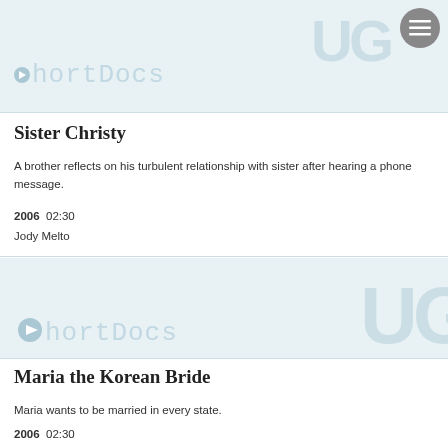ShortDocs
Sister Christy
A brother reflects on his turbulent relationship with sister after hearing a phone message.
2006  02:30
Jody Melto
[Figure (logo): ShortDocs logo banner with light blue background, 'ShortDocs' text and UO letters watermark]
Maria the Korean Bride
Maria wants to be married in every state.
2006  02:30